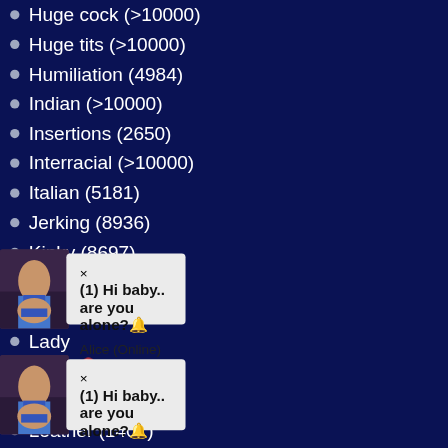Huge cock (>10000)
Huge tits (>10000)
Humiliation (4984)
Indian (>10000)
Insertions (2650)
Interracial (>10000)
Italian (5181)
Jerking (8936)
Kinky (8697)
Kitchen (3526)
Korean (4163)
Lady...
Latex...
Latina...
Leather (1407)
Lesbi...
Linge... )
Mach... (74)
Maid (3569)
[Figure (photo): Popup notification 1 with woman in blue bikini photo and text: (1) Hi baby.. are you alone? Alice (Online) Click to see her profile]
[Figure (photo): Popup notification 2 with woman in blue bikini photo and text: (1) Hi baby.. are you alone? Alice (Online) Click to see her profile]